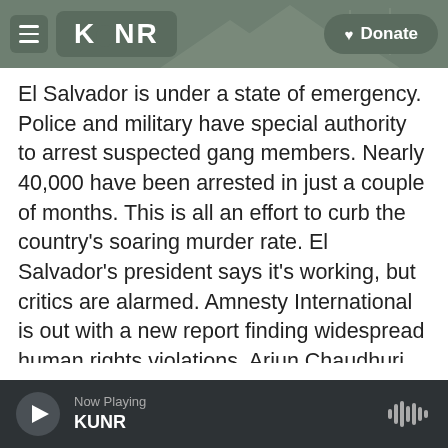KUNR — Donate
El Salvador is under a state of emergency. Police and military have special authority to arrest suspected gang members. Nearly 40,000 have been arrested in just a couple of months. This is all an effort to curb the country's soaring murder rate. El Salvador's president says it's working, but critics are alarmed. Amnesty International is out with a new report finding widespread human rights violations. Arjun Chaudhuri was part of the Amnesty team on the ground there.
ARJUN CHAUDHURI: We were in El Salvador for nearly three weeks. We documented the cases of
Now Playing KUNR